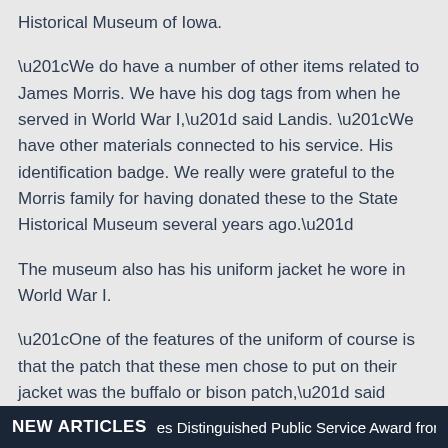Historical Museum of Iowa.
“We do have a number of other items related to James Morris. We have his dog tags from when he served in World War I,” said Landis. “We have other materials connected to his service. His identification badge. We really were grateful to the Morris family for having donated these to the State Historical Museum several years ago.”
The museum also has his uniform jacket he wore in World War I.
“One of the features of the uniform of course is that the patch that these men chose to put on their jacket was the buffalo or bison patch,” said Landis. “That was because in the 1870s and 1880s and 1890s, Black men were serving in the western areas were often referred to as
NEW ARTICLES   es Distinguished Public Service Award from the